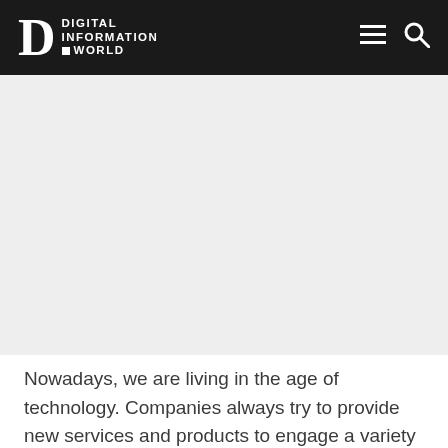DIGITAL INFORMATION WORLD
[Figure (other): Advertisement placeholder area with light gray background]
Nowadays, we are living in the age of technology. Companies always try to provide new services and products to engage a variety of audience. Now people only can impact everything on all devices...